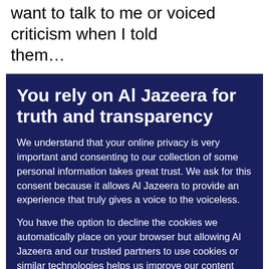want to talk to me or voiced criticism when I told them…
You rely on Al Jazeera for truth and transparency
We understand that your online privacy is very important and consenting to our collection of some personal information takes great trust. We ask for this consent because it allows Al Jazeera to provide an experience that truly gives a voice to the voiceless.

You have the option to decline the cookies we automatically place on your browser but allowing Al Jazeera and our trusted partners to use cookies or similar technologies helps us improve our content and offerings to you. You can change your privacy preferences at any time by selecting 'Cookie preferences' at the bottom of your screen. To learn more, please view our Cookie Policy.